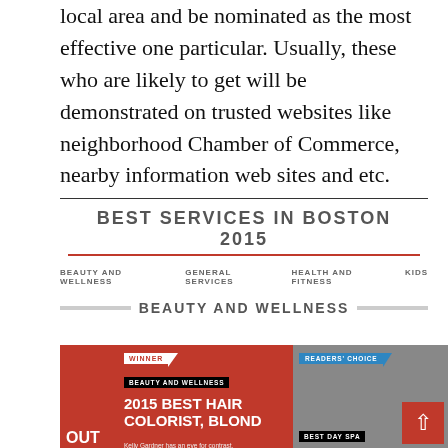local area and be nominated as the most effective one particular. Usually, these who are likely to get will be demonstrated on trusted websites like neighborhood Chamber of Commerce, nearby information web sites and etc.
BEST SERVICES IN BOSTON 2015
BEAUTY AND WELLNESS   GENERAL SERVICES   HEALTH AND FITNESS   KIDS
BEAUTY AND WELLNESS
[Figure (screenshot): Screenshot of a 'Best Services in Boston 2015' website showing two award cards: one for '2015 Best Hair Colorist, Blond' with a WINNER badge and one for '2015 Best Day Spa' with a READERS' CHOICE badge, under the Beauty and Wellness category.]